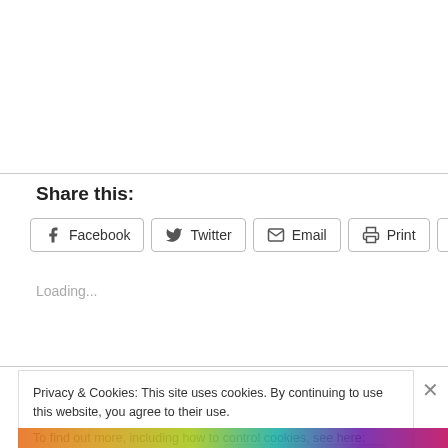Share this:
Facebook
Twitter
Email
Print
Pinterest
Loading...
Privacy & Cookies: This site uses cookies. By continuing to use this website, you agree to their use.
To find out more, including how to control cookies, see here: Cookie Policy
Close and accept